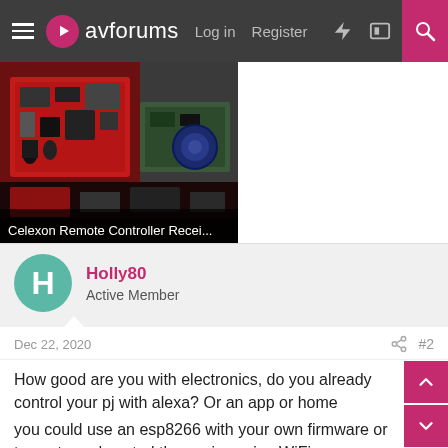avforums  Log in  Register
[Figure (photo): Photo of electronic components/circuit boards with red PCBs and various hardware parts]
Celexon Remote Controller Recei...
Holly80
Active Member
Dec 22, 2020  #2
How good are you with electronics, do you already control your pj with alexa? Or an app or home automation server?
you could use an esp8266 with your own firmware or tasmota and control those pins using WiFi.